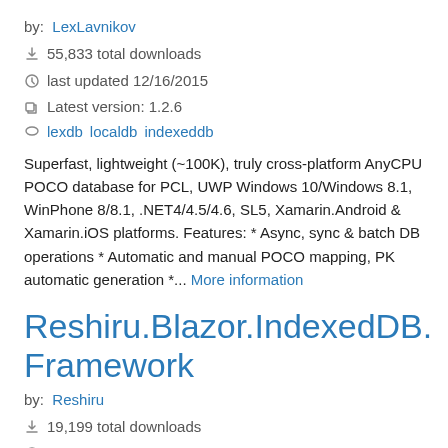by: LexLavnikov
55,833 total downloads
last updated 12/16/2015
Latest version: 1.2.6
lexdb localdb indexeddb
Superfast, lightweight (~100K), truly cross-platform AnyCPU POCO database for PCL, UWP Windows 10/Windows 8.1, WinPhone 8/8.1, .NET4/4.5/4.6, SL5, Xamarin.Android & Xamarin.iOS platforms. Features: * Async, sync & batch DB operations * Automatic and manual POCO mapping, PK automatic generation *... More information
Reshiru.Blazor.IndexedDB.Framework
by: Reshiru
19,199 total downloads
last updated 7/10/2019
Latest version: 1.0.1